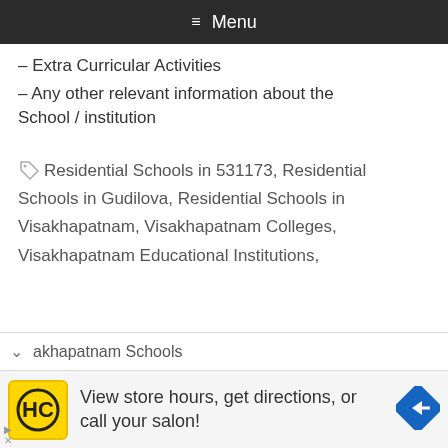≡ Menu
– Extra Curricular Activities
– Any other relevant information about the School / institution
🏷 Residential Schools in 531173, Residential Schools in Gudilova, Residential Schools in Visakhapatnam, Visakhapatnam Colleges, Visakhapatnam Educational Institutions, Visakhapatnam Schools
akhapatnam Schools
View store hours, get directions, or call your salon!